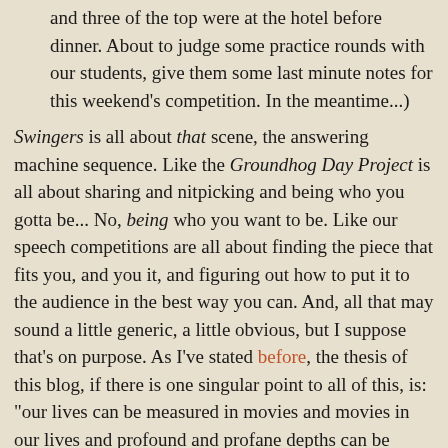and three of the top were at the hotel before dinner. About to judge some practice rounds with our students, give them some last minute notes for this weekend's competition. In the meantime...)
Swingers is all about that scene, the answering machine sequence. Like the Groundhog Day Project is all about sharing and nitpicking and being who you gotta be... No, being who you want to be. Like our speech competitions are all about finding the piece that fits you, and you it, and figuring out how to put it to the audience in the best way you can. And, all that may sound a little generic, a little obvious, but I suppose that's on purpose. As I've stated before, the thesis of this blog, if there is one singular point to all of this, is: "our lives can be measured in movies and movies in our lives and profound and profane depths can be found in the intersection thereof." Not just at a literal Fever Pitch kind of level but also inasmuch as (most) any given film is of its time and its place, and what we (as a population) choose to watch and celebrate can measure the whole of us as much as our individual viewing choices can measure who we are individually.